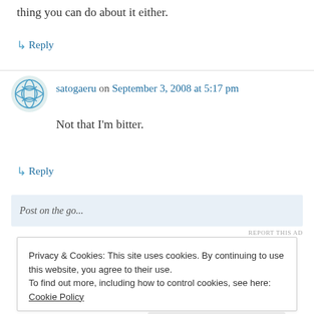thing you can do about it either.
↳ Reply
satogaeru on September 3, 2008 at 5:17 pm
Not that I'm bitter.
↳ Reply
[Figure (other): Advertisement bar with partial text 'Post on the go...' and a button, with REPORT THIS AD label]
Privacy & Cookies: This site uses cookies. By continuing to use this website, you agree to their use. To find out more, including how to control cookies, see here: Cookie Policy
Close and accept